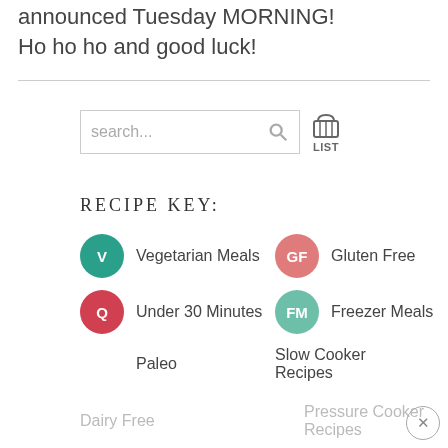announced Tuesday MORNING!
Ho ho ho and good luck!
[Figure (other): Search bar with search icon and LIST basket icon]
RECIPE KEY:
V - Vegetarian Meals
GF - Gluten Free
Q - Under 30 Minutes
FM - Freezer Meals
Paleo
Slow Cooker Recipes
Low Carb
Kid Friendly
Dairy Free
Pressure Cooker Recipes